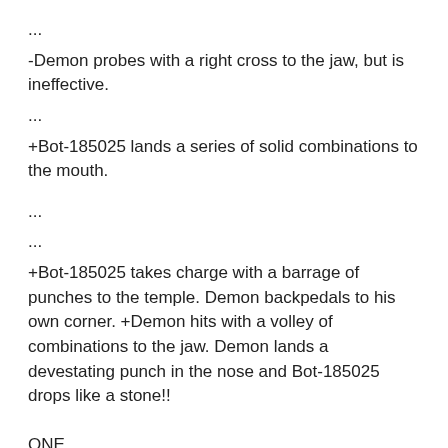...
-Demon probes with a right cross to the jaw, but is ineffective.
...
+Bot-185025 lands a series of solid combinations to the mouth.
...
...
+Bot-185025 takes charge with a barrage of punches to the temple. Demon backpedals to his own corner. +Demon hits with a volley of combinations to the jaw. Demon lands a devestating punch in the nose and Bot-185025 drops like a stone!!
ONE
TWO
THREE